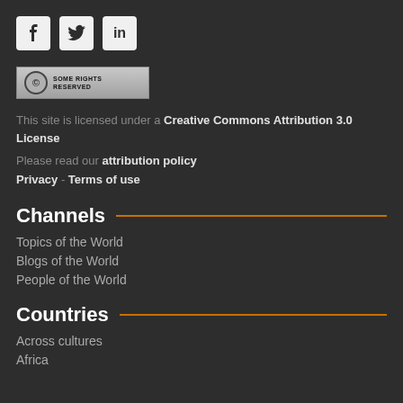[Figure (logo): Social media icons: Facebook, Twitter, LinkedIn]
[Figure (logo): Creative Commons Some Rights Reserved badge]
This site is licensed under a Creative Commons Attribution 3.0 License
Please read our attribution policy
Privacy - Terms of use
Channels
Topics of the World
Blogs of the World
People of the World
Countries
Across cultures
Africa